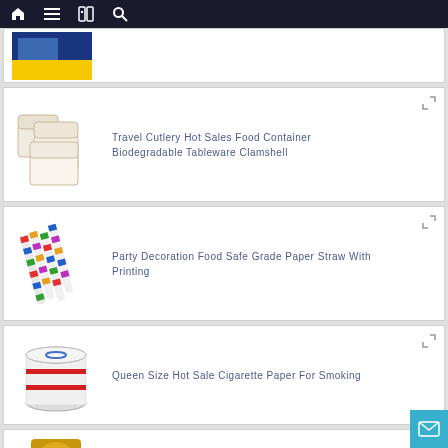Navigation bar with home, menu, catalog, and search icons
[Figure (photo): Partial product card showing a blue packaged product image, cropped at top]
Travel Cutlery Hot Sales Food Container Biodegradable Tableware Clamshell
[Figure (photo): White biodegradable clamshell food containers stacked]
Party Decoration Food Safe Grade Paper Straw With Printing
[Figure (photo): Colorful striped paper straws bundled together]
Queen Size Hot Sale Cigarette Paper For Smoking
[Figure (photo): Stack of white cigarette rolling paper booklets with red stripe]
Food Packing Use Good Quality Aluminium Fo